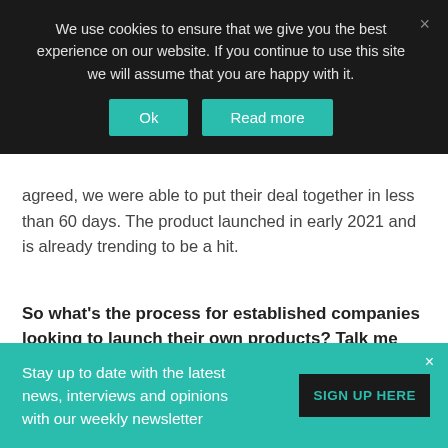We use cookies to ensure that we give you the best experience on our website. If you continue to use this site we will assume that you are happy with it.
agreed, we were able to put their deal together in less than 60 days. The product launched in early 2021 and is already trending to be a hit.
So what's the process for established companies looking to launch their own products? Talk me through it...
There we start by reviewing the company's own strategy and timing to ensure their goals are achievable. If we're all aligned, the first step is to create an offer and run our
Stay up to date with the latest news, interviews and opinions with our weekly newsletter